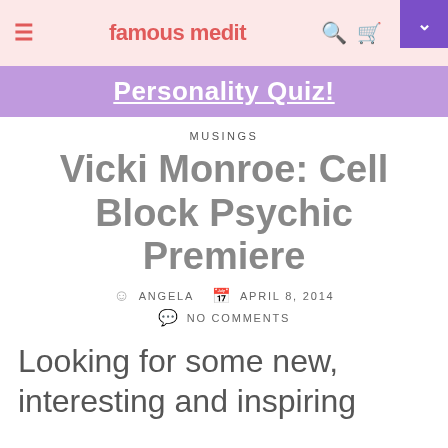famous medit
Personality Quiz!
MUSINGS
Vicki Monroe: Cell Block Psychic Premiere
ANGELA   APRIL 8, 2014   NO COMMENTS
Looking for some new, interesting and inspiring